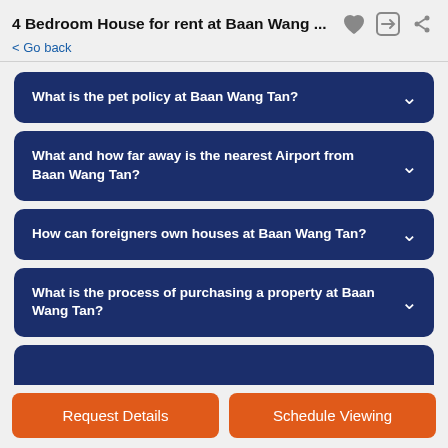4 Bedroom House for rent at Baan Wang ... < Go back
What is the pet policy at Baan Wang Tan?
What and how far away is the nearest Airport from Baan Wang Tan?
How can foreigners own houses at Baan Wang Tan?
What is the process of purchasing a property at Baan Wang Tan?
Request Details
Schedule Viewing